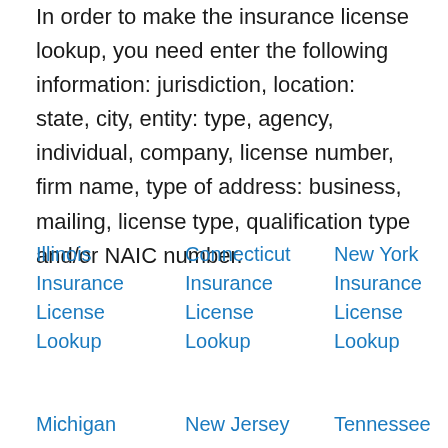In order to make the insurance license lookup, you need enter the following information: jurisdiction, location: state, city, entity: type, agency, individual, company, license number, firm name, type of address: business, mailing, license type, qualification type and/or NAIC number.
Illinois Insurance License Lookup
Connecticut Insurance License Lookup
New York Insurance License Lookup
Michigan
New Jersey
Tennessee